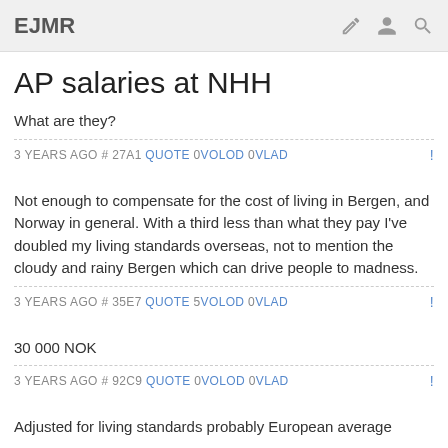EJMR
AP salaries at NHH
What are they?
3 YEARS AGO # 27A1 QUOTE 0 VOLOD 0 VLAD
Not enough to compensate for the cost of living in Bergen, and Norway in general. With a third less than what they pay I've doubled my living standards overseas, not to mention the cloudy and rainy Bergen which can drive people to madness.
3 YEARS AGO # 35E7 QUOTE 5 VOLOD 0 VLAD
30 000 NOK
3 YEARS AGO # 92C9 QUOTE 0 VOLOD 0 VLAD
Adjusted for living standards probably European average